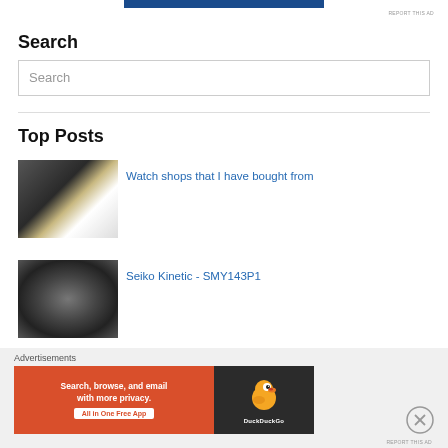[Figure (other): Top advertisement banner bar in dark blue]
REPORT THIS AD
Search
[Figure (other): Search input box with placeholder text 'Search']
Top Posts
[Figure (photo): Photo of dark watch boxes stacked, one white box visible]
Watch shops that I have bought from
[Figure (photo): Grayscale photo of a Seiko watch face close-up]
Seiko Kinetic - SMY143P1
Advertisements
[Figure (other): DuckDuckGo advertisement banner: 'Search, browse, and email with more privacy. All in One Free App' with DuckDuckGo logo on dark background]